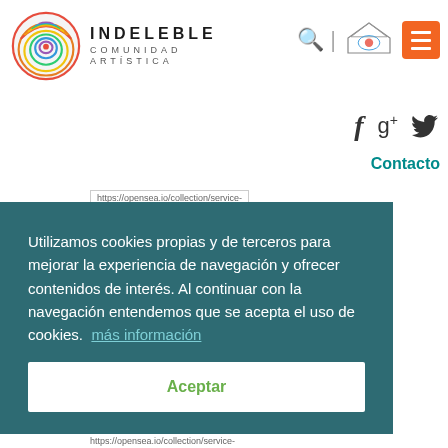[Figure (logo): Indeleble Comunidad Artística logo with colorful fingerprint circle and bold letter text]
[Figure (logo): La Nave Indeleble secondary logo, house shape with colorful design]
[Figure (infographic): Orange hamburger menu button icon]
[Figure (infographic): Social icons: Facebook f, Google+ g+, Twitter bird]
Contacto
https://opensea.io/collection/service-
Utilizamos cookies propias y de terceros para mejorar la experiencia de navegación y ofrecer contenidos de interés. Al continuar con la navegación entendemos que se acepta el uso de cookies.  más información
Aceptar
https://opensea.io/collection/service-